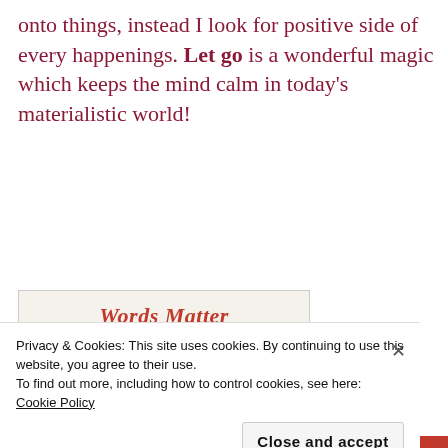onto things, instead I look for positive side of every happenings. Let go is a wonderful magic which keeps the mind calm in today's materialistic world!
[Figure (illustration): Words Matter blog hop promotional image with decorative floral/leaf border, title 'Words Matter' in script, subtitle 'let them flow', pencil graphic, and text 'Join this Monthly BlogHop with Corinne, Parul and Shalini #WordsMatter']
Privacy & Cookies: This site uses cookies. By continuing to use this website, you agree to their use. To find out more, including how to control cookies, see here: Cookie Policy
Close and accept